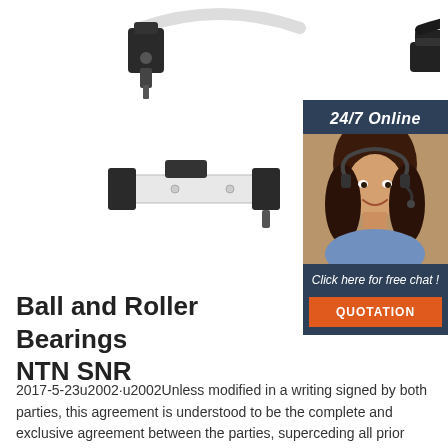[Figure (photo): Multiple hardware components: cabinet handles and latches in black and silver/white, including a pull handle, cam lock, sliding latch, T-handle, and lever handle on white background]
[Figure (infographic): 24/7 Online chat widget with dark blue background, photo of smiling woman with headset, text 'Click here for free chat!' and orange QUOTATION button]
Ball and Roller Bearings NTN SNR
2017-5-23u2002·u2002Unless modified in a writing signed by both parties, this agreement is understood to be the complete and exclusive agreement between the parties, superceding all prior agreements, oral or written, and all other ...